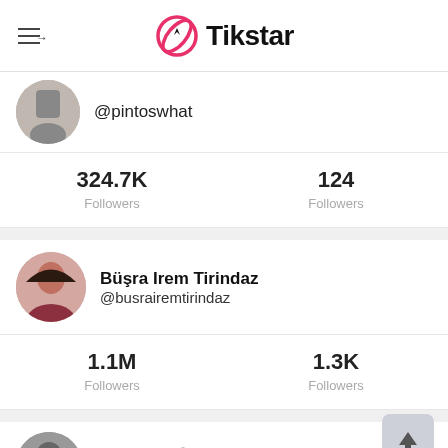Tikstar
@pintoswhat
324.7K Followers / 124 Followers
Büşra Irem Tirindaz @busrairemtirindaz
1.1M Followers / 1.3K Followers
♥ Kamiii 🎵♥ @pckingkami